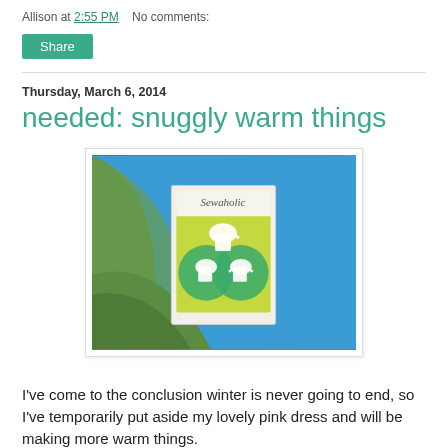Allison at 2:55 PM   No comments:
Share
Thursday, March 6, 2014
needed: snuggly warm things
[Figure (photo): A sewing pattern booklet (Sewaholic brand, green and yellow cover showing shirt/top designs) resting on green and blue fleece fabric]
I've come to the conclusion winter is never going to end, so I've temporarily put aside my lovely pink dress and will be making more warm things.